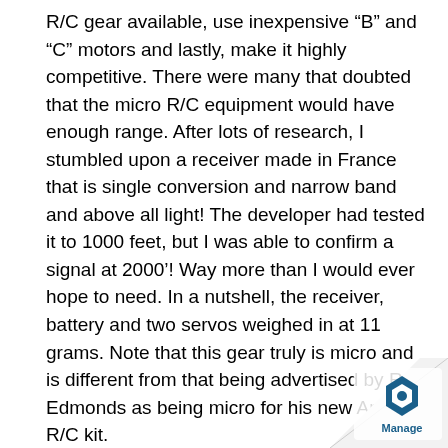R/C gear available, use inexpensive “B” and “C” motors and lastly, make it highly competitive. There were many that doubted that the micro R/C equipment would have enough range. After lots of research, I stumbled upon a receiver made in France that is single conversion and narrow band and above all light! The developer had tested it to 1000 feet, but I was able to confirm a signal at 2000’! Way more than I would ever hope to need. In a nutshell, the receiver, battery and two servos weighed in at 11 grams. Note that this gear truly is micro and is different from that being advertised by Rob Edmonds as being micro for his new Arcie II R/C kit.
Next was keeping the glider small and light enough to be competitive on B and C motors. At $5 a pack at Wal-Mart, these size motors are easily available and cheap. This would also allow me to get as many flights in as possible without breaking the bank and get lots of experience. The zero-wind glide mass of the glider with 82 sq. in. wing is 42 grams, or a little over 0.5 g/sq. in. which would definitely m...
[Figure (logo): Blue hexagonal Manage logo in bottom-right corner with page curl effect]